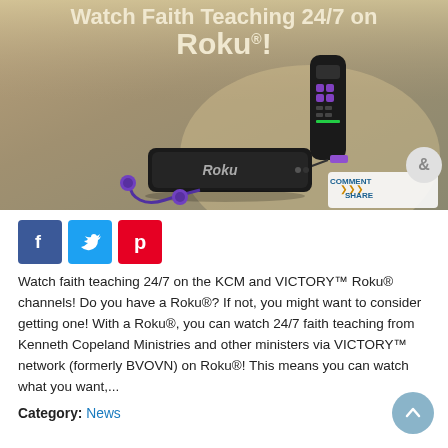[Figure (photo): Promotional image for watching faith teaching 24/7 on Roku. Shows a Roku streaming device, remote control with purple buttons, and earbuds on a golden/brown background. Text overlay reads 'Watch Faith Teaching 24/7 on Roku!' with a 'COMMENT & SHARE' badge in the bottom right corner.]
[Figure (infographic): Three social media share buttons: Facebook (blue), Twitter (light blue), Pinterest (red)]
Watch faith teaching 24/7 on the KCM and VICTORY™ Roku® channels! Do you have a Roku®? If not, you might want to consider getting one! With a Roku®, you can watch 24/7 faith teaching from Kenneth Copeland Ministries and other ministers via VICTORY™ network (formerly BVOVN) on Roku®! This means you can watch what you want,...
Category: News